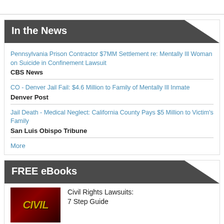In the News
Pennsylvania Prison Contractor $7MM Settlement re: Mentally Ill Woman on Suicide in Confinement Lawsuit
CBS News
CO - Denver Jail Fail: $4.6 Million to Family of Mentally Ill Inmate
Denver Post
Jail Death - Medical Neglect: California County Pays $5 Million to Victim's Family
San Luis Obispo Tribune
More
FREE eBooks
[Figure (illustration): Book cover with dark red background and yellow CIVIL text]
Civil Rights Lawsuits:
7 Step Guide